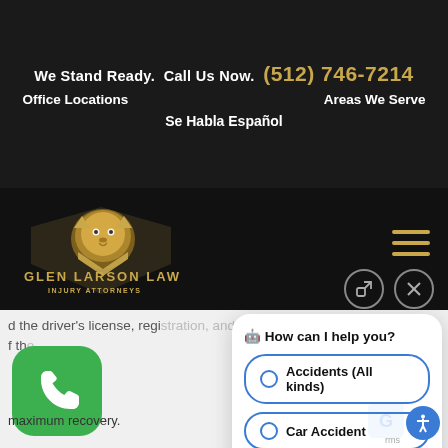We Stand Ready.  Call Us Now.  (512) 746-7214
Office Locations    Areas We Serve
Se Habla Español
[Figure (logo): Glen Larson Law Injury Attorneys logo with golden lion head and text]
d the driver's license, registration, and insurance details, take f th...
maximum recovery.
[Figure (screenshot): Chat popup widget showing 'How can I help you?' with options: Accidents (All kinds), Car Accident, Ride Share Accident, Truck Accident (partially visible), and a Scroll button]